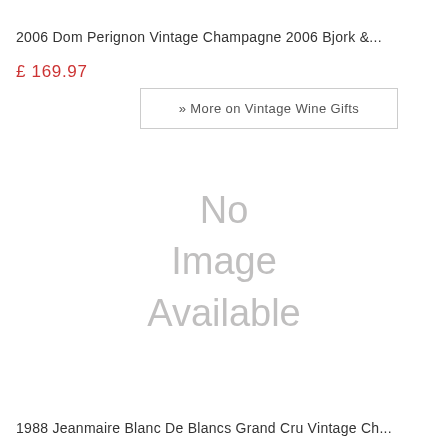2006 Dom Perignon Vintage Champagne 2006 Bjork &...
£ 169.97
» More on Vintage Wine Gifts
[Figure (other): No Image Available placeholder]
1988 Jeanmaire Blanc De Blancs Grand Cru Vintage Ch...